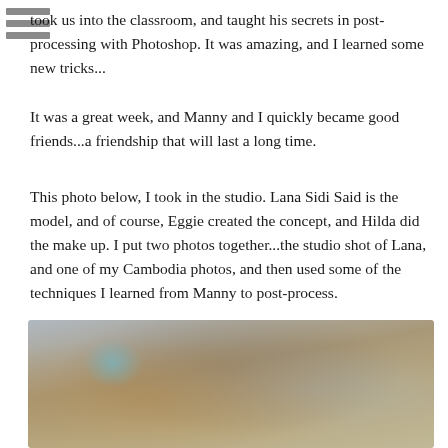took us into the classroom, and taught his secrets in post-processing with Photoshop. It was amazing, and I learned some new tricks...
It was a great week, and Manny and I quickly became good friends...a friendship that will last a long time.
This photo below, I took in the studio. Lana Sidi Said is the model, and of course, Eggie created the concept, and Hilda did the make up. I put two photos together...the studio shot of Lana, and one of my Cambodia photos, and then used some of the techniques I learned from Manny to post-process.
[Figure (photo): A composite studio and Cambodia photo showing a model (Lana Sidi Said) with a decorative/cultural concept, with blue light effects, partially visible at the bottom of the page.]